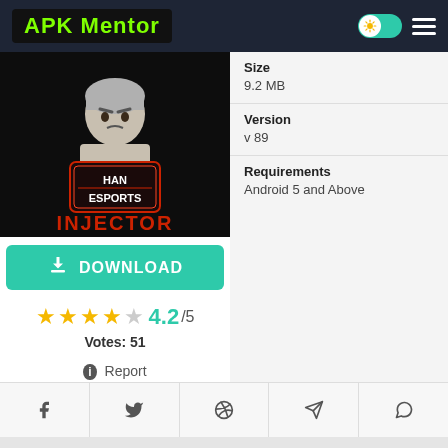APK Mentor
[Figure (illustration): Han Esports Injector app icon — anime-style character with text 'HAN ESPORTS INJECTOR' on black background with red neon styling]
Size
9.2 MB
Version
v 89
Requirements
Android 5 and Above
DOWNLOAD
4.2/5
Votes: 51
Report
DESCRIPTION